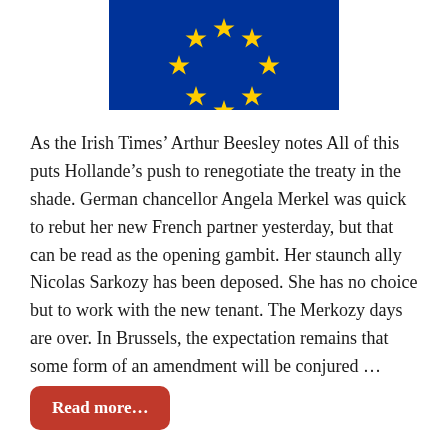[Figure (illustration): Partial European Union flag showing yellow stars on a dark blue background]
As the Irish Times’ Arthur Beesley notes All of this puts Hollande’s push to renegotiate the treaty in the shade. German chancellor Angela Merkel was quick to rebut her new French partner yesterday, but that can be read as the opening gambit. Her staunch ally Nicolas Sarkozy has been deposed. She has no choice but to work with the new tenant. The Merkozy days are over. In Brussels, the expectation remains that some form of an amendment will be conjured …
Read more…